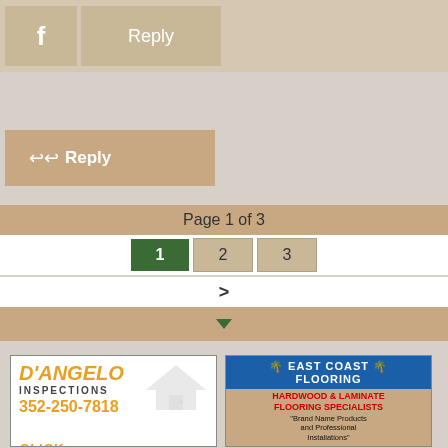[Figure (screenshot): Top bar with Facebook icon button and Reply button on tan/beige background]
[Figure (screenshot): Reply button with arrow icon on tan background]
Page 1 of 3
1  2  3
>
[Figure (screenshot): Down arrow chevron on tan bar]
[Figure (infographic): D'Angelo Inspections ad with orange text, phone number 352-250-7818, house illustration and two people]
[Figure (infographic): East Coast Flooring ad with blue header, hardwood and laminate flooring specialists, phone 352-307-99, address 9180 S US Hwy 441]